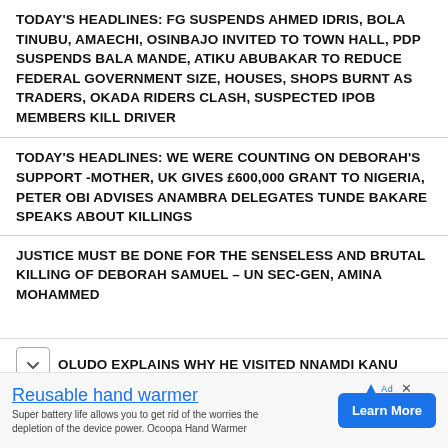TODAY'S HEADLINES: FG SUSPENDS AHMED IDRIS, BOLA TINUBU, AMAECHI, OSINBAJO INVITED TO TOWN HALL, PDP SUSPENDS BALA MANDE, ATIKU ABUBAKAR TO REDUCE FEDERAL GOVERNMENT SIZE, HOUSES, SHOPS BURNT AS TRADERS, OKADA RIDERS CLASH, SUSPECTED IPOB MEMBERS KILL DRIVER
TODAY'S HEADLINES: WE WERE COUNTING ON DEBORAH'S SUPPORT -MOTHER, UK GIVES £600,000 GRANT TO NIGERIA, PETER OBI ADVISES ANAMBRA DELEGATES TUNDE BAKARE SPEAKS ABOUT KILLINGS
JUSTICE MUST BE DONE FOR THE SENSELESS AND BRUTAL KILLING OF DEBORAH SAMUEL – UN SEC-GEN, AMINA MOHAMMED
OLUDO EXPLAINS WHY HE VISITED NNAMDI KANU
Reusable hand warmer
Super battery life allows you to get rid of the worries the depletion of the device power. Ocoopa Hand Warmer